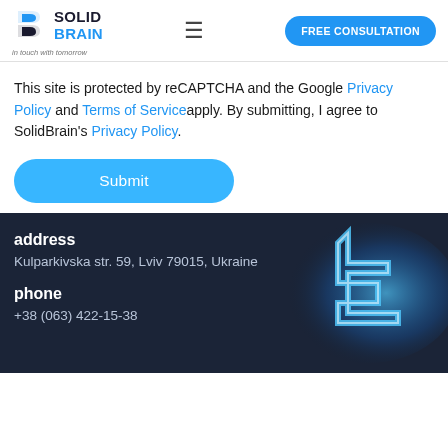SOLID BRAIN in touch with tomorrow | FREE CONSULTATION
This site is protected by reCAPTCHA and the Google Privacy Policy and Terms of Service apply. By submitting, I agree to SolidBrain’s Privacy Policy.
Submit
address
Kulparkivska str. 59, Lviv 79015, Ukraine
phone
+38 (063) 422-15-38